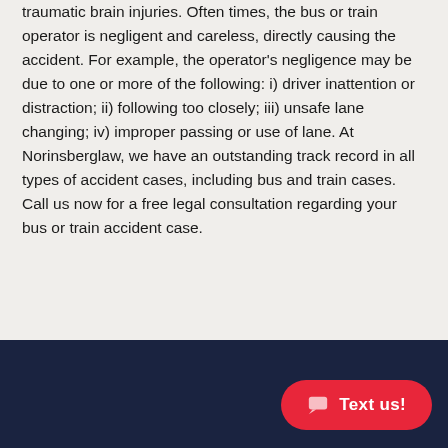traumatic brain injuries. Often times, the bus or train operator is negligent and careless, directly causing the accident. For example, the operator's negligence may be due to one or more of the following: i) driver inattention or distraction; ii) following too closely; iii) unsafe lane changing; iv) improper passing or use of lane. At Norinsberglaw, we have an outstanding track record in all types of accident cases, including bus and train cases. Call us now for a free legal consultation regarding your bus or train accident case.
[Figure (other): Dark navy blue footer bar with a red rounded 'Text us!' button with chat icon on the right side]